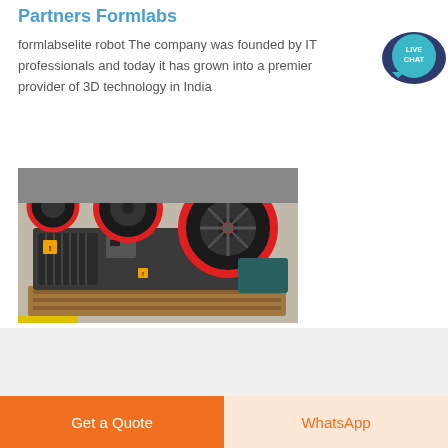Partners Formlabs
formlabselite robot The company was founded by IT professionals and today it has grown into a premier provider of 3D technology in India
[Figure (photo): Industrial jaw crusher machine with large red and black wheels/rollers on a wooden pallet in a factory setting]
[Figure (illustration): Live Chat speech bubble icon in teal/dark blue]
Get a Quote
WhatsApp